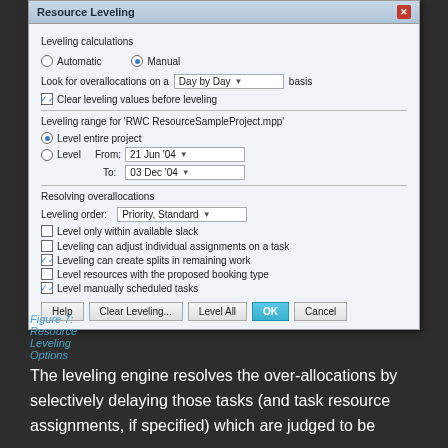[Figure (screenshot): Resource Leveling dialog box from Microsoft Project showing leveling calculation options including Automatic/Manual radio buttons, overallocation basis dropdown set to 'Day by Day', leveling range options with dates 21 Jun '04 to 03 Dec '04, resolving overallocations section with Priority Standard dropdown, and various checkboxes for leveling behavior. Buttons at bottom: Help, Clear Leveling..., Level All, OK, Cancel.]
Figure 7: Resource Leveling Options
The leveling engine resolves the over-allocations by selectively delaying those tasks (and task resource assignments, if specified) which are judged to be